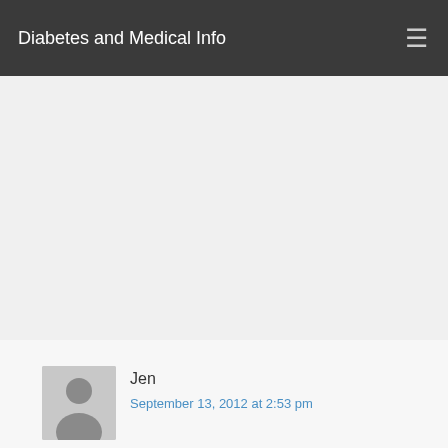Diabetes and Medical Info
Labs, and I can say that this is a safer route than the surgery. It can make you lose weight so it's great!
Log in to Reply
Jen
September 13, 2012 at 2:53 pm
I been using the formula for 13 days and have lost 6 pounds. I started out letting it gel and eating it but after a week I found I was having a difficult time getting it down so now I drink it. So far it's better. I also found that coffe seems to increase any uneasy stomach so I avoid coffee for a few hours.
Log in to Reply